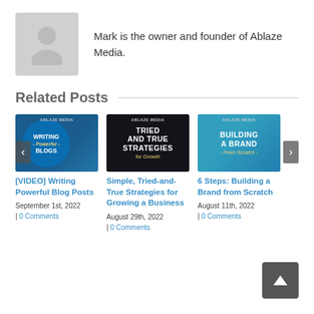[Figure (photo): Generic user avatar placeholder — grey silhouette on grey background]
Mark is the owner and founder of Ablaze Media.
Related Posts
[Figure (photo): Thumbnail for '[VIDEO] Writing Powerful Blog Posts' — teal circle with white text on keyboard background]
[VIDEO] Writing Powerful Blog Posts
September 1st, 2022
| 0 Comments
[Figure (photo): Thumbnail for 'Simple, Tried-and-True Strategies for Growing a Business' — dark background with white and gold text]
Simple, Tried-and-True Strategies for Growing a Business
August 29th, 2022
| 0 Comments
[Figure (photo): Thumbnail for '6 Steps: Building a Brand from Scratch' — teal/blue background with white and gold text]
6 Steps: Building a Brand from Scratch
August 11th, 2022
| 0 Comments